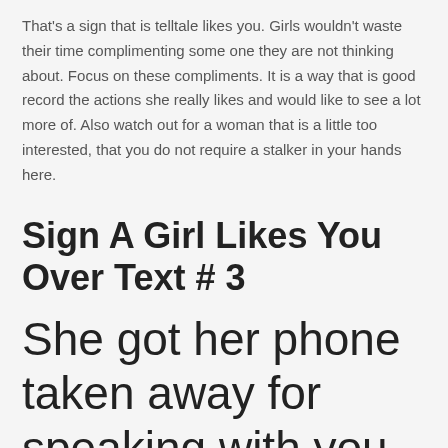That's a sign that is telltale likes you. Girls wouldn't waste their time complimenting some one they are not thinking about. Focus on these compliments. It is a way that is good record the actions she really likes and would like to see a lot more of. Also watch out for a woman that is a little too interested, that you do not require a stalker in your hands here.
Sign A Girl Likes You Over Text # 3
She got her phone taken away for speaking with you later during